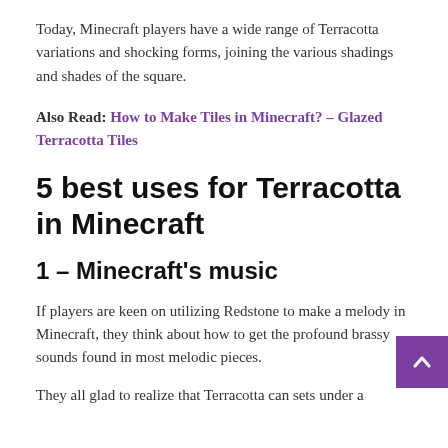Today, Minecraft players have a wide range of Terracotta variations and shocking forms, joining the various shadings and shades of the square.
Also Read: How to Make Tiles in Minecraft? – Glazed Terracotta Tiles
5 best uses for Terracotta in Minecraft
1 – Minecraft's music
If players are keen on utilizing Redstone to make a melody in Minecraft, they think about how to get the profound brassy sounds found in most melodic pieces.
They all glad to realize that Terracotta can sets under a